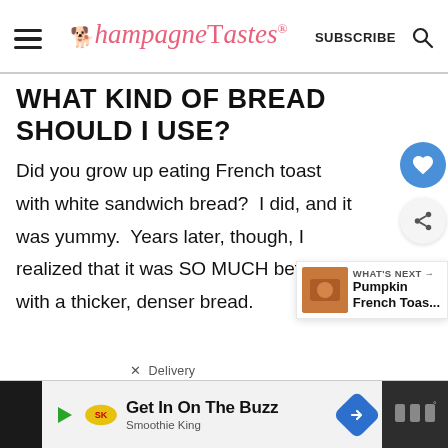ChampagneTastes® — SUBSCRIBE
WHAT KIND OF BREAD SHOULD I USE?
Did you grow up eating French toast with white sandwich bread?  I did, and it was yummy.  Years later, though, I realized that it was SO MUCH better with a thicker, denser bread.